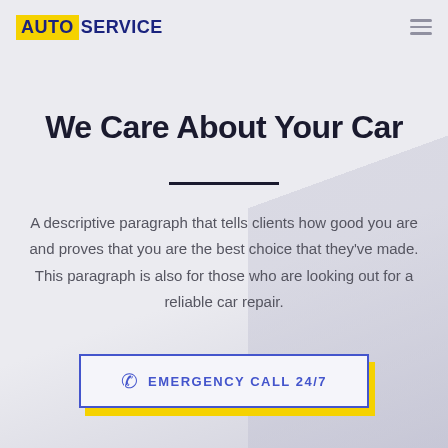AUTOSERVICE
We Care About Your Car
A descriptive paragraph that tells clients how good you are and proves that you are the best choice that they've made. This paragraph is also for those who are looking out for a reliable car repair.
EMERGENCY CALL 24/7